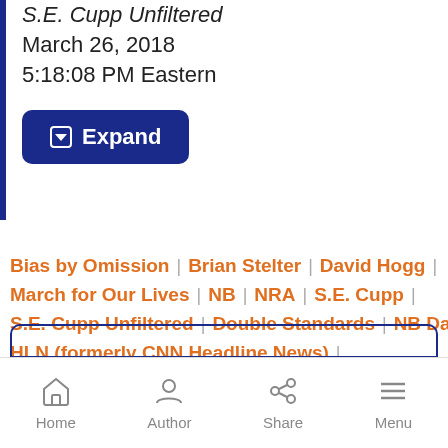S.E. Cupp Unfiltered
March 26, 2018
5:18:08 PM Eastern
Expand
Bias by Omission | Brian Stelter | David Hogg |
March for Our Lives | NB | NRA | S.E. Cupp |
S.E. Cupp Unfiltered | Double Standards | NB Daily |
HLN (formerly CNN Headline News) |
Parkland School Shooting | Events | Guns |
Media Bias Debate | Cable Television
Home | Author | Share | Menu